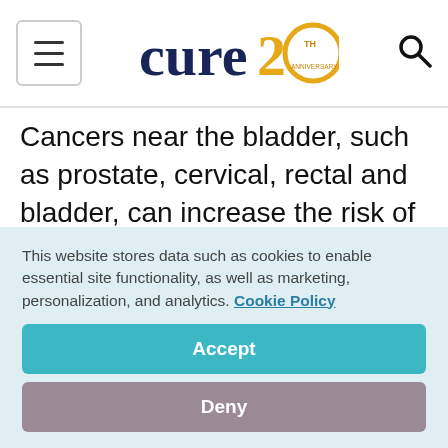cure 20th anniversary [logo with menu and search]
Cancers near the bladder, such as prostate, cervical, rectal and bladder, can increase the risk of urinary
This website stores data such as cookies to enable essential site functionality, as well as marketing, personalization, and analytics. Cookie Policy
Accept
Deny